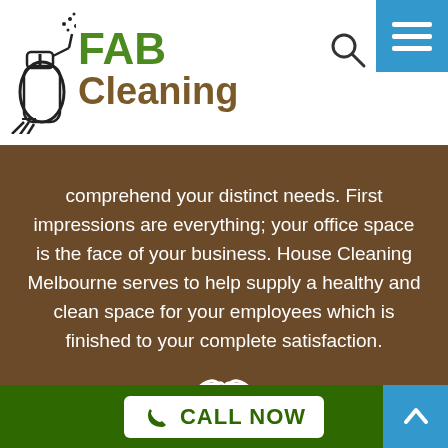[Figure (logo): FAB Cleaning logo with spray bottle icon, green FAB text and brown Cleaning text]
comprehend your distinct needs. First impressions are everything; your office space is the face of your business. House Cleaning Melbourne serves to help supply a healthy and clean space for your employees which is finished to your complete satisfaction.
[Figure (illustration): White gloved hand / cleaning mitt icon on green background]
MOVE IN/OUT
CALL NOW